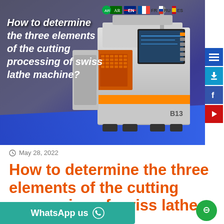[Figure (photo): Hero banner image showing a CNC swiss lathe machine (model B13) on a blue/grey gradient background with the title text overlaid and language flags (AR, EN, FR, RU, ES) at the top right]
May 28, 2022
How to determine the three elements of the cutting processing of swiss lathe